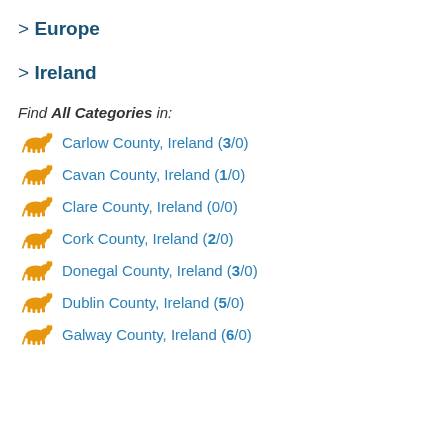> Europe
> Ireland
Find All Categories in:
Carlow County, Ireland (3/0)
Cavan County, Ireland (1/0)
Clare County, Ireland (0/0)
Cork County, Ireland (2/0)
Donegal County, Ireland (3/0)
Dublin County, Ireland (5/0)
Galway County, Ireland (6/0)